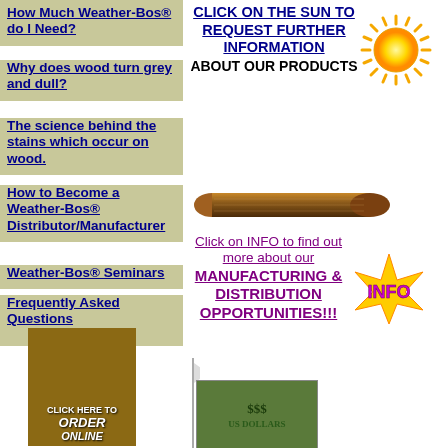How Much Weather-Bos® do I Need?
Why does wood turn grey and dull?
The science behind the stains which occur on wood.
How to Become a Weather-Bos® Distributor/Manufacturer
Weather-Bos® Seminars
Frequently Asked Questions
CLICK ON THE SUN TO REQUEST FURTHER INFORMATION ABOUT OUR PRODUCTS
[Figure (illustration): Yellow sun graphic]
[Figure (illustration): Brown cigar-shaped horizontal bar]
Click on INFO to find out more about our MANUFACTURING & DISTRIBUTION OPPORTUNITIES!!!
[Figure (illustration): INFO badge/logo in pink and yellow]
[Figure (illustration): Click here to ORDER ONLINE button with wood background]
[Figure (illustration): US dollar bills image]